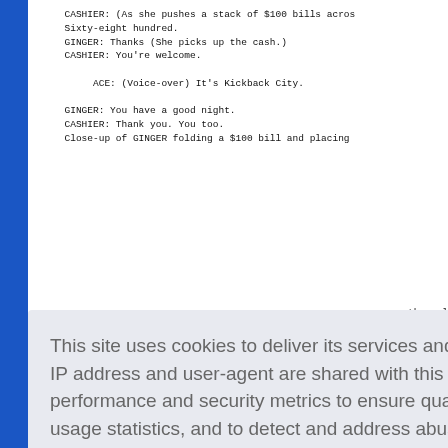CASHIER: (As she pushes a stack of $100 bills acros
Sixty-eight hundred.
GINGER: Thanks (She picks up the cash.)
CASHIER: You're welcome.

ACE: (Voice-over) It's Kickback City.

GINGER: You have a good night.
CASHIER: Thank you. You too.
Close-up of GINGER folding a $100 bill and placing
                                        the pal
ers . . .
anagers.
olded $10
e valet p
re of any
GINGER: Thanks a lot.
SHIFT BOSS: Thank you, Ginger.
This site uses cookies to deliver its services and to analyze traffic. Your IP address and user-agent are shared with this website along with performance and security metrics to ensure quality of service, generate usage statistics, and to detect and address abuse.
Learn more
Got it!